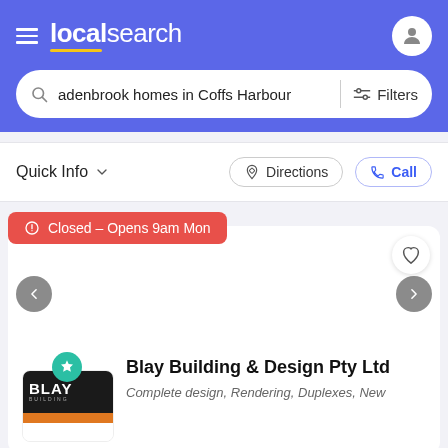localsearch
adenbrook homes in Coffs Harbour
Filters
Quick Info
Directions
Call
Closed – Opens 9am Mon
[Figure (screenshot): Business listing card with navigation arrows for image slider]
[Figure (logo): Blay Building logo: dark background with BLAY text in white, orange bar at bottom]
Blay Building & Design Pty Ltd
Complete design, Rendering, Duplexes, New